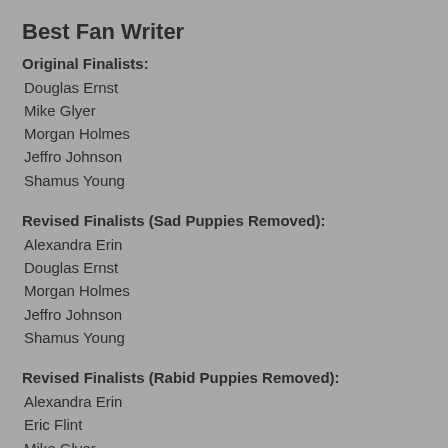Best Fan Writer
Original Finalists:
Douglas Ernst
Mike Glyer
Morgan Holmes
Jeffro Johnson
Shamus Young
Revised Finalists (Sad Puppies Removed):
Alexandra Erin
Douglas Ernst
Morgan Holmes
Jeffro Johnson
Shamus Young
Revised Finalists (Rabid Puppies Removed):
Alexandra Erin
Eric Flint
Mike Glyer
Natalie Luhrs
Mark Oshiro